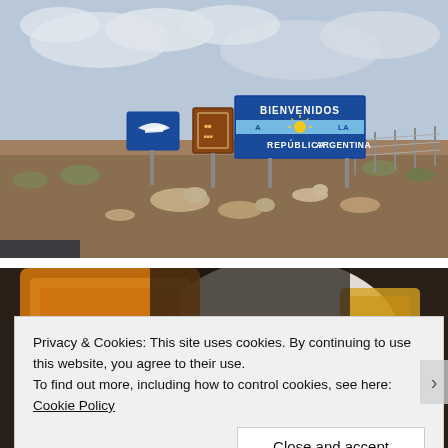[Figure (photo): Outdoor photo showing road signs in an arid landscape including a blue sign reading 'BIENVENIDOS A LA REPUBLICA ARGENTINA' with Argentine flag sun symbol, a blue directional sign, and a brown sign, under a cloudy sky.]
[Figure (photo): Partial photo of food items on a plate, partially obscured by cookie consent banner overlay.]
Privacy & Cookies: This site uses cookies. By continuing to use this website, you agree to their use.
To find out more, including how to control cookies, see here: Cookie Policy
Close and accept